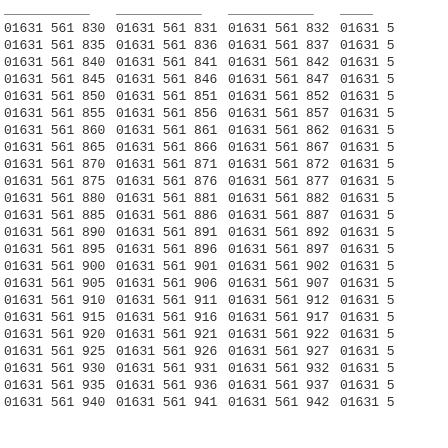| Col1 | Col2 | Col3 | Col4 |
| --- | --- | --- | --- |
| 01631 561 830 | 01631 561 831 | 01631 561 832 | 01631 5 |
| 01631 561 835 | 01631 561 836 | 01631 561 837 | 01631 5 |
| 01631 561 840 | 01631 561 841 | 01631 561 842 | 01631 5 |
| 01631 561 845 | 01631 561 846 | 01631 561 847 | 01631 5 |
| 01631 561 850 | 01631 561 851 | 01631 561 852 | 01631 5 |
| 01631 561 855 | 01631 561 856 | 01631 561 857 | 01631 5 |
| 01631 561 860 | 01631 561 861 | 01631 561 862 | 01631 5 |
| 01631 561 865 | 01631 561 866 | 01631 561 867 | 01631 5 |
| 01631 561 870 | 01631 561 871 | 01631 561 872 | 01631 5 |
| 01631 561 875 | 01631 561 876 | 01631 561 877 | 01631 5 |
| 01631 561 880 | 01631 561 881 | 01631 561 882 | 01631 5 |
| 01631 561 885 | 01631 561 886 | 01631 561 887 | 01631 5 |
| 01631 561 890 | 01631 561 891 | 01631 561 892 | 01631 5 |
| 01631 561 895 | 01631 561 896 | 01631 561 897 | 01631 5 |
| 01631 561 900 | 01631 561 901 | 01631 561 902 | 01631 5 |
| 01631 561 905 | 01631 561 906 | 01631 561 907 | 01631 5 |
| 01631 561 910 | 01631 561 911 | 01631 561 912 | 01631 5 |
| 01631 561 915 | 01631 561 916 | 01631 561 917 | 01631 5 |
| 01631 561 920 | 01631 561 921 | 01631 561 922 | 01631 5 |
| 01631 561 925 | 01631 561 926 | 01631 561 927 | 01631 5 |
| 01631 561 930 | 01631 561 931 | 01631 561 932 | 01631 5 |
| 01631 561 935 | 01631 561 936 | 01631 561 937 | 01631 5 |
| 01631 561 940 | 01631 561 941 | 01631 561 942 | 01631 5 |